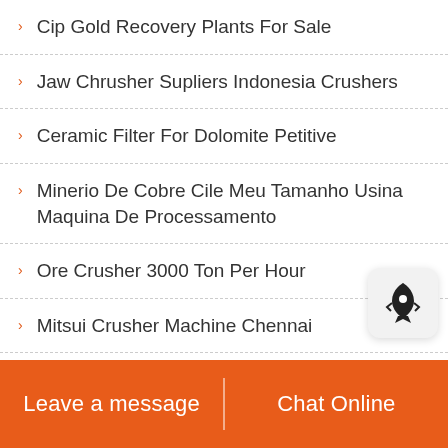Cip Gold Recovery Plants For Sale
Jaw Chrusher Supliers Indonesia Crushers
Ceramic Filter For Dolomite Petitive
Minerio De Cobre Cile Meu Tamanho Usina Maquina De Processamento
Ore Crusher 3000 Ton Per Hour
Mitsui Crusher Machine Chennai
Copper Mineral Process In Zambia
Leave a message | Chat Online